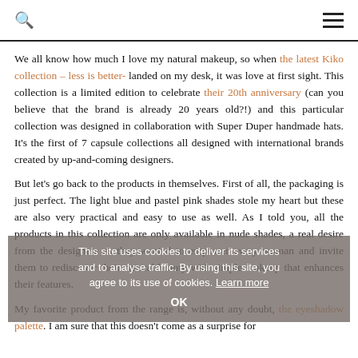🔍  ≡
We all know how much I love my natural makeup, so when the latest Kiko collection – less is better- landed on my desk, it was love at first sight. This collection is a limited edition to celebrate their 20th anniversary (can you believe that the brand is already 20 years old?!) and this particular collection was designed in collaboration with Super Duper handmade hats. It's the first of 7 capsule collections all designed with international brands created by up-and-coming designers.
But let's go back to the products in themselves. First of all, the packaging is just perfect. The light blue and pastel pink shades stole my heart but these are also very practical and easy to use as well. As I told you, all the products in this collection are only available in nude shades, a real desire from the designers as they wanted to empower every woman and invite them to rediscover their natural beauty with simple makeup that enhances their features.
My favorite product from the range is, without any doubt, the eyeshadow palette. I am sure that this doesn't come as a surprise for
This site uses cookies to deliver its services and to analyse traffic. By using this site, you agree to its use of cookies. Learn more  OK